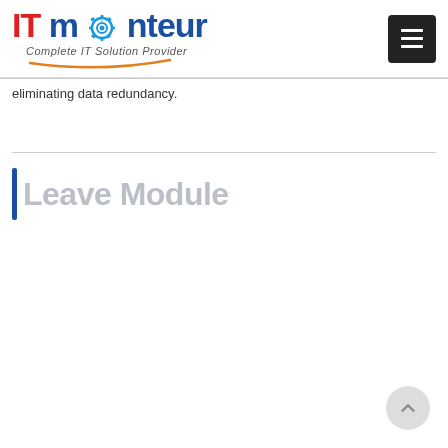[Figure (logo): IT Monteur logo with gear icon and tagline 'Complete IT Solution Provider']
eliminating data redundancy.
Leave Module